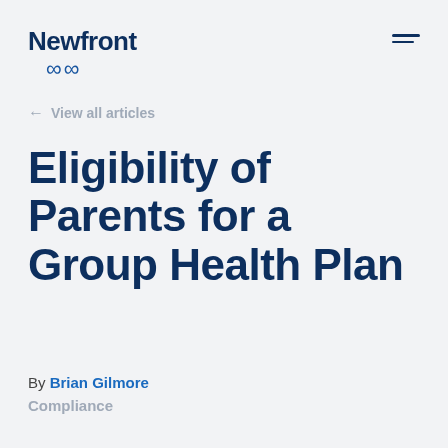Newfront
← View all articles
Eligibility of Parents for a Group Health Plan
By Brian Gilmore
Compliance